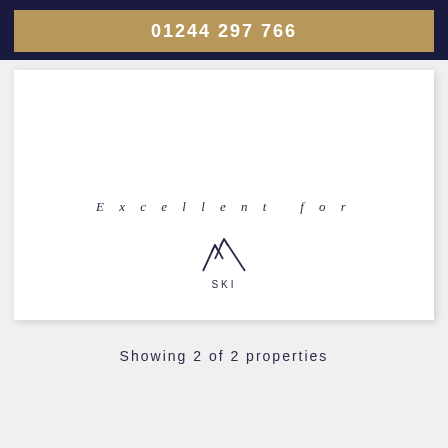01244 297 766
[Figure (logo): Mountain peaks icon with text 'Excellent for SKI' — ski activity logo on white card background]
Showing 2 of 2 properties